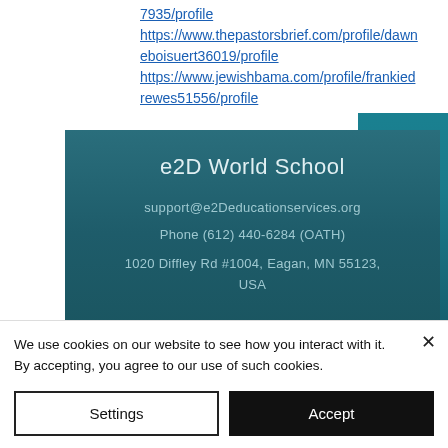7935/profile https://www.thepastorsbrief.com/profile/dawneboisuert36019/profile https://www.jewishbama.com/profile/frankiedrewes51556/profile
e2D World School
support@e2Deducationservices.org
Phone (612) 440-6284 (OATH)
1020 Diffley Rd #1004, Eagan, MN 55123, USA
We use cookies on our website to see how you interact with it. By accepting, you agree to our use of such cookies.